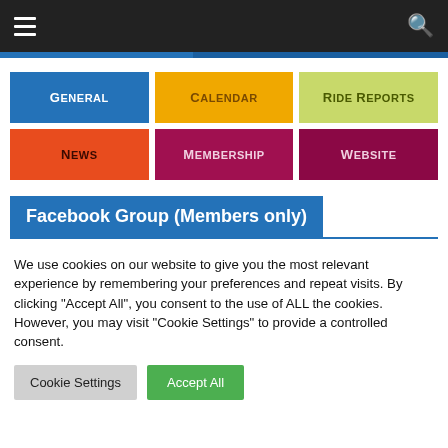Navigation bar with hamburger menu and search icon
[Figure (infographic): Six colored navigation buttons in a 3x2 grid: General (blue), Calendar (yellow), Ride Reports (yellow-green), News (orange-red), Membership (dark pink), Website (dark magenta)]
Facebook Group (Members only)
We use cookies on our website to give you the most relevant experience by remembering your preferences and repeat visits. By clicking "Accept All", you consent to the use of ALL the cookies. However, you may visit "Cookie Settings" to provide a controlled consent.
Cookie Settings | Accept All